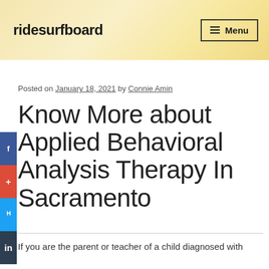ridesurfboard
Posted on January 18, 2021 by Connie Amin
Know More about Applied Behavioral Analysis Therapy In Sacramento
If you are the parent or teacher of a child diagnosed with